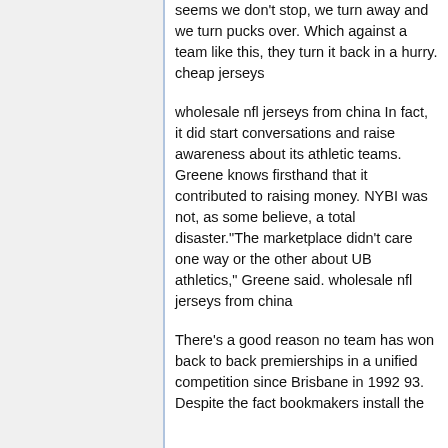seems we don't stop, we turn away and we turn pucks over. Which against a team like this, they turn it back in a hurry. cheap jerseys
wholesale nfl jerseys from china In fact, it did start conversations and raise awareness about its athletic teams. Greene knows firsthand that it contributed to raising money. NYBI was not, as some believe, a total disaster."The marketplace didn't care one way or the other about UB athletics," Greene said. wholesale nfl jerseys from china
There's a good reason no team has won back to back premierships in a unified competition since Brisbane in 1992 93. Despite the fact bookmakers install the